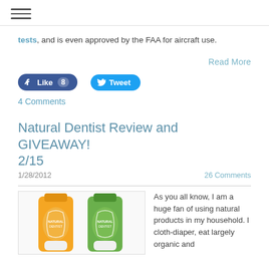≡ (hamburger menu icon)
tests, and is even approved by the FAA for aircraft use.
Read More
[Figure (infographic): Facebook Like button showing 8 likes and Twitter Tweet button]
4 Comments
Natural Dentist Review and GIVEAWAY! 2/15
1/28/2012
26 Comments
[Figure (photo): Two Natural Dentist mouthwash bottles, one orange and one green]
As you all know, I am a huge fan of using natural products in my household. I cloth-diaper, eat largely organic and